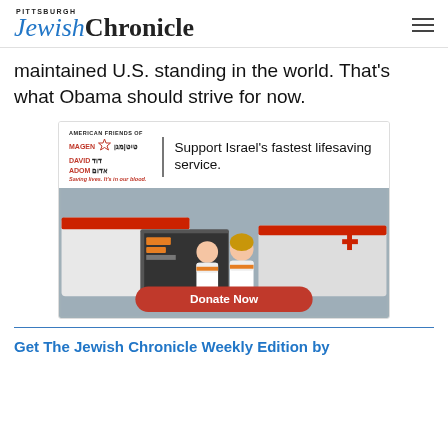Pittsburgh Jewish Chronicle
maintained U.S. standing in the world. That's what Obama should strive for now.
[Figure (infographic): Magen David Adom advertisement: Support Israel's fastest lifesaving service. Shows two female paramedics sitting at the back of an ambulance with a red Donate Now button.]
Get The Jewish Chronicle Weekly Edition by